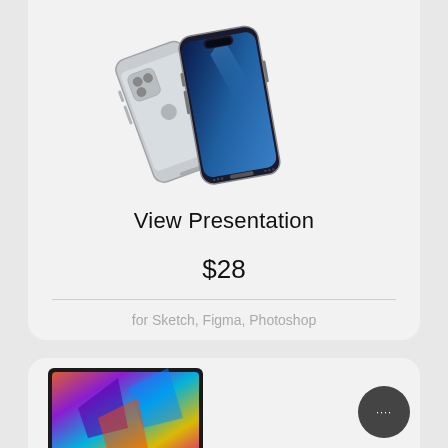[Figure (illustration): Two iPhone 13 Pro devices in Sierra Blue, one showing the front screen with blue gradient wallpaper, one showing the back with Apple logo, displayed at an angle]
View Presentation
$28
for Sketch, Figma, Photoshop
[Figure (illustration): Laptop or tablet device with colorful abstract wallpaper, partially visible at bottom of page]
[Figure (illustration): Dark circular chat button with four dots in bottom right corner]